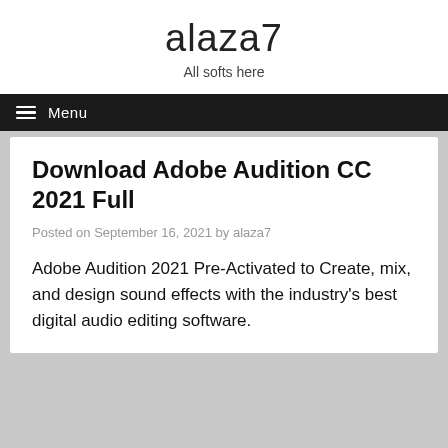alaza7
All softs here
≡ Menu
Download Adobe Audition CC 2021 Full
Posted on September 16, 2021 by alaza7
Adobe Audition 2021 Pre-Activated to Create, mix, and design sound effects with the industry's best digital audio editing software.